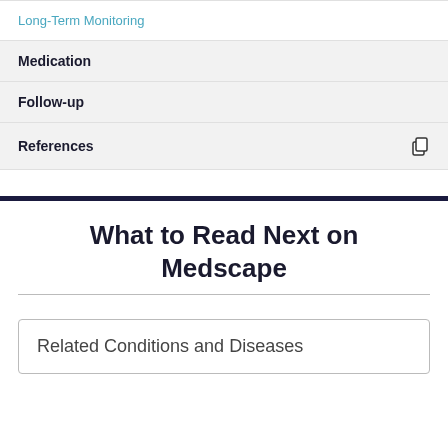Long-Term Monitoring
Medication
Follow-up
References
What to Read Next on Medscape
Related Conditions and Diseases